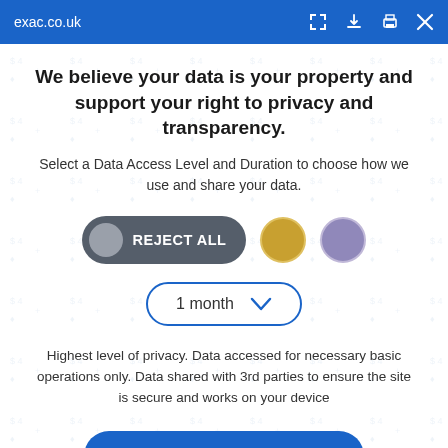exac.co.uk
We believe your data is your property and support your right to privacy and transparency.
Select a Data Access Level and Duration to choose how we use and share your data.
[Figure (other): Privacy consent UI with REJECT ALL toggle button, a gold circle button, and a purple circle button]
[Figure (other): Dropdown selector showing '1 month' with a downward chevron, styled with blue border and rounded corners]
Highest level of privacy. Data accessed for necessary basic operations only. Data shared with 3rd parties to ensure the site is secure and works on your device
Save my preferences